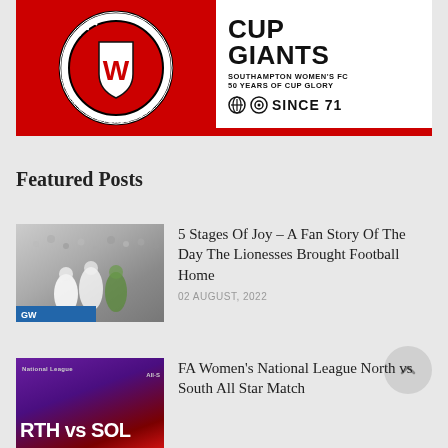[Figure (logo): Southampton Women's FC Cup Giants promotional banner with club crest on red background, text reading CUP GIANTS, SOUTHAMPTON WOMEN'S FC, 50 YEARS OF CUP GLORY, SINCE 71]
Featured Posts
[Figure (photo): Crowd/football match scene photo thumbnail for Lionesses article]
5 Stages Of Joy – A Fan Story Of The Day The Lionesses Brought Football Home
02 AUGUST, 2022
[Figure (photo): Purple and red promotional image thumbnail for FA Women's National League North vs South All Star Match]
FA Women's National League North vs South All Star Match